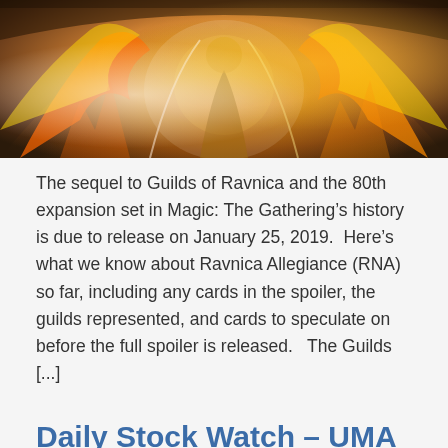[Figure (illustration): Fantasy illustration showing magical birds or phoenix-like creatures in orange and gold flames, with a female figure in the center, from the Ravnica Allegiance Magic: The Gathering expansion set.]
The sequel to Guilds of Ravnica and the 80th expansion set in Magic: The Gathering’s history is due to release on January 25, 2019.  Here’s what we know about Ravnica Allegiance (RNA) so far, including any cards in the spoiler, the guilds represented, and cards to speculate on before the full spoiler is released.   The Guilds [...]
Daily Stock Watch – UMA Box Toppers Part 5
Posted on January 1, 2019 by Jamie Robertson San Juan